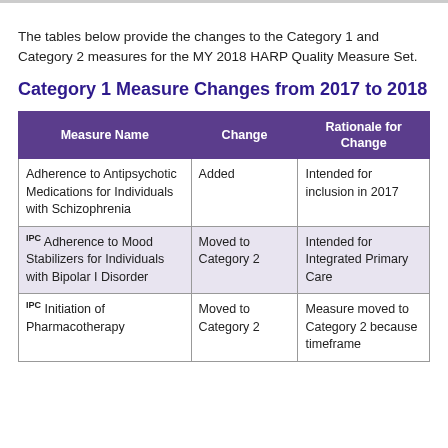The tables below provide the changes to the Category 1 and Category 2 measures for the MY 2018 HARP Quality Measure Set.
Category 1 Measure Changes from 2017 to 2018
| Measure Name | Change | Rationale for Change |
| --- | --- | --- |
| Adherence to Antipsychotic Medications for Individuals with Schizophrenia | Added | Intended for inclusion in 2017 |
| IPC Adherence to Mood Stabilizers for Individuals with Bipolar I Disorder | Moved to Category 2 | Intended for Integrated Primary Care |
| IPC Initiation of Pharmacotherapy | Moved to Category 2 | Measure moved to Category 2 because timeframe |